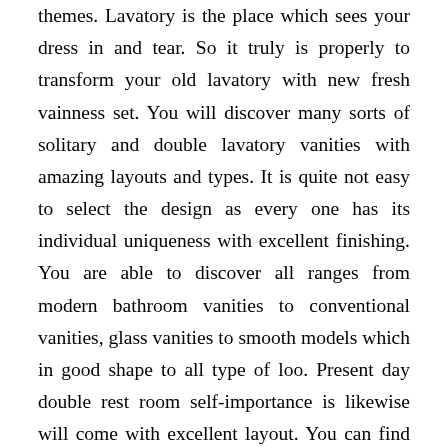themes. Lavatory is the place which sees your dress in and tear. So it truly is properly to transform your old lavatory with new fresh vainness set. You will discover many sorts of solitary and double lavatory vanities with amazing layouts and types. It is quite not easy to select the design as every one has its individual uniqueness with excellent finishing. You are able to discover all ranges from modern bathroom vanities to conventional vanities, glass vanities to smooth models which in good shape to all type of loo. Present day double rest room self-importance is likewise will come with excellent layout. You can find enormous quantity of kinds in modern toilet vainness set like Caesar Picasso Wenge Vainness, Calida toilet Self-importance Established, ebony lavatory vainness established, Wenge Contemporary Vainness Established and lots of more. A lot of the self-importance sets comes with modern day layout and in addition having a independent cabinet for medicine.This is the superior time to rework your kitchen and bathroom as it lets you feel the enjoyment and in addition contains a very good resale price. The modern appliances like apron sink will actually insert glimpse on your kitchen and it will stand for